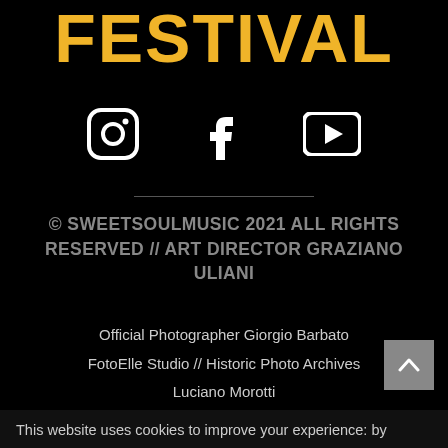FESTIVAL
[Figure (infographic): Social media icons: Instagram, Facebook, YouTube in white on black background]
© SWEETSOULMUSIC 2021 ALL RIGHTS RESERVED // ART DIRECTOR GRAZIANO ULIANI
Official Photographer Giorgio Barbato
FotoElle Studio // Historic Photo Archives
Luciano Morotti
This website uses cookies to improve your experience: by